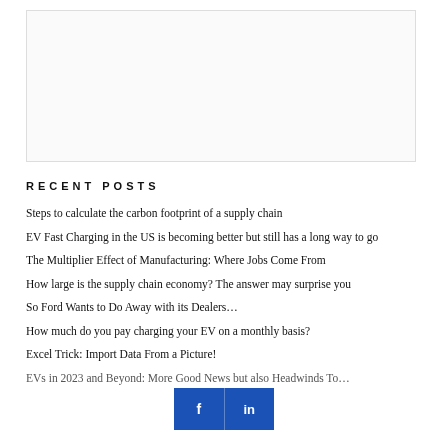[Figure (other): Blank white rectangular area at top of page, possibly an image placeholder or advertisement space]
RECENT POSTS
Steps to calculate the carbon footprint of a supply chain
EV Fast Charging in the US is becoming better but still has a long way to go
The Multiplier Effect of Manufacturing: Where Jobs Come From
How large is the supply chain economy? The answer may surprise you
So Ford Wants to Do Away with its Dealers…
How much do you pay charging your EV on a monthly basis?
Excel Trick: Import Data From a Picture!
EVs in 2023 and Beyond: More Good News but also Headwinds To…
[Figure (other): Social media share bar with Facebook and LinkedIn icons in blue]